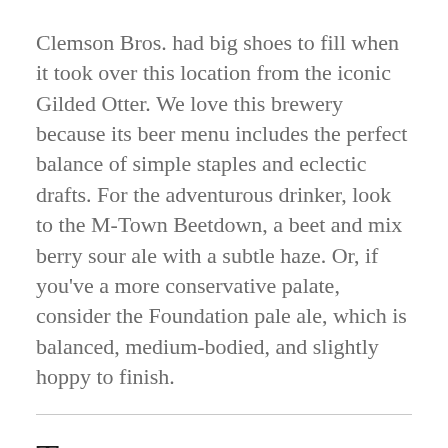Clemson Bros. had big shoes to fill when it took over this location from the iconic Gilded Otter. We love this brewery because its beer menu includes the perfect balance of simple staples and eclectic drafts. For the adventurous drinker, look to the M-Town Beetdown, a beet and mix berry sour ale with a subtle haze. Or, if you've a more conservative palate, consider the Foundation pale ale, which is balanced, medium-bodied, and slightly hoppy to finish.
Treats
Krause's Chocolates